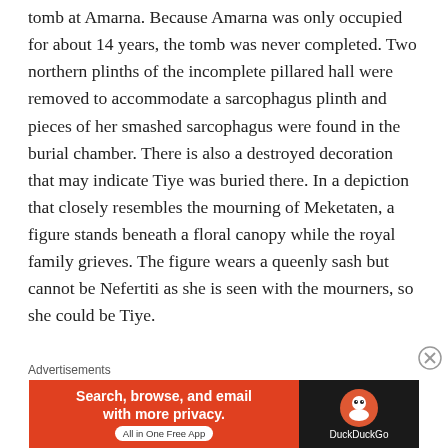tomb at Amarna. Because Amarna was only occupied for about 14 years, the tomb was never completed. Two northern plinths of the incomplete pillared hall were removed to accommodate a sarcophagus plinth and pieces of her smashed sarcophagus were found in the burial chamber. There is also a destroyed decoration that may indicate Tiye was buried there. In a depiction that closely resembles the mourning of Meketaten, a figure stands beneath a floral canopy while the royal family grieves. The figure wears a queenly sash but cannot be Nefertiti as she is seen with the mourners, so she could be Tiye.
Advertisements
[Figure (other): DuckDuckGo advertisement banner: orange section on left says 'Search, browse, and email with more privacy. All in One Free App', dark section on right shows DuckDuckGo logo and name.]